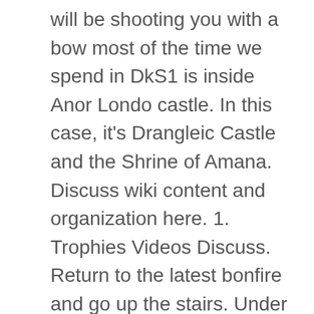will be shooting you with a bow most of the time we spend in DkS1 is inside Anor Londo castle. In this case, it's Drangleic Castle and the Shrine of Amana. Discuss wiki content and organization here. 1. Trophies Videos Discuss. Return to the latest bonfire and go up the stairs. Under Castle Drangleic. Visit Drangleic Castle, go deep deep down all the way to Undead Crypt; Go way way up to Dragon Shrine; End the game at Throne of Want (in the castle) There's basically no crossover between main paths and there are barely any mutual vantage points; 2 varies from 1 because 2's world is representing an entire continent. Does this apply to NG+? This is the story of Drangleic Castle and the Abbey of St. Claire. If you take the lift all the way to the top, you will be able to open the peculiar cage. If you haven't killed any of them, and have 0 Effigies in your inventory and storage box, you may use the altar in Shrine of